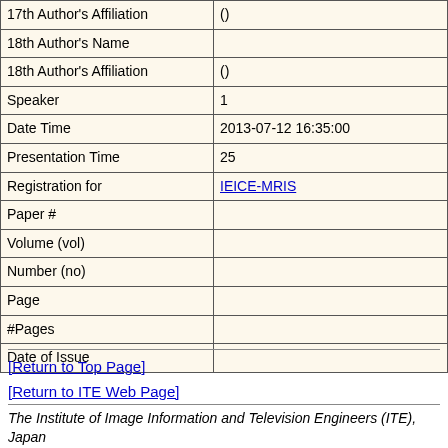| Field | Value |
| --- | --- |
| 17th Author's Affiliation | () |
| 18th Author's Name |  |
| 18th Author's Affiliation | () |
| Speaker | 1 |
| Date Time | 2013-07-12 16:35:00 |
| Presentation Time | 25 |
| Registration for | IEICE-MRIS |
| Paper # |  |
| Volume (vol) |  |
| Number (no) |  |
| Page |  |
| #Pages |  |
| Date of Issue |  |
[Return to Top Page]
[Return to ITE Web Page]
The Institute of Image Information and Television Engineers (ITE), Japan